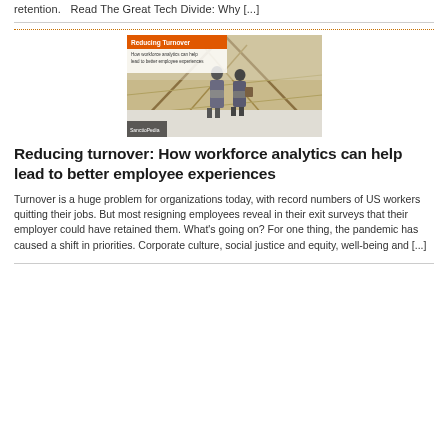retention.   Read The Great Tech Divide: Why [...]
[Figure (photo): Two people walking in a modern building with geometric architecture, with a 'Reducing Turnover' overlay text/banner in the upper left corner.]
Reducing turnover: How workforce analytics can help lead to better employee experiences
Turnover is a huge problem for organizations today, with record numbers of US workers quitting their jobs. But most resigning employees reveal in their exit surveys that their employer could have retained them. What's going on? For one thing, the pandemic has caused a shift in priorities. Corporate culture, social justice and equity, well-being and [...]